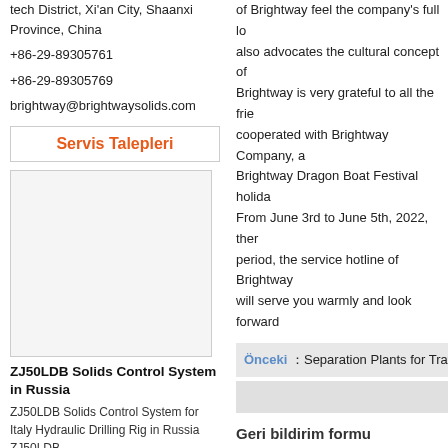tech District, Xi'an City, Shaanxi Province, China
+86-29-89305761
+86-29-89305769
brightway@brightwaysolids.com
Servis Talepleri
[Figure (photo): Product or company image placeholder]
ZJ50LDB Solids Control System in Russia
ZJ50LDB Solids Control System for Italy Hydraulic Drilling Rig in Russia ZJ50LDB...
of Brightway feel the company's full lo also advocates the cultural concept of Brightway is very grateful to all the frie cooperated with Brightway Company, a Brightway Dragon Boat Festival holida From June 3rd to June 5th, 2022, ther period, the service hotline of Brightway will serve you warmly and look forward
Önceki : Separation Plants for Traffic
Geri bildirim formu
* Adınız:
* E-posta:
* Şirket: